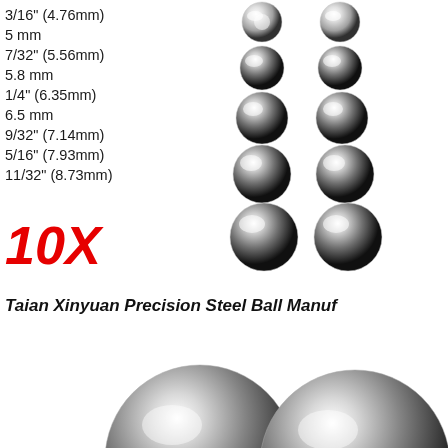3/16" (4.76mm)
5 mm
7/32" (5.56mm)
5.8 mm
1/4" (6.35mm)
6.5 mm
9/32" (7.14mm)
5/16" (7.93mm)
11/32" (8.73mm)
10X
[Figure (photo): Two columns of shiny chrome steel balls of increasing size arranged vertically, totaling 10 balls]
Taian Xinyuan Precision Steel Ball Manuf
[Figure (photo): Two large shiny stainless steel balls photographed from above, partially cropped at bottom of page]